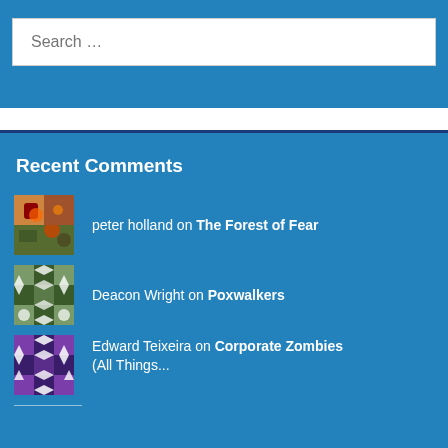Search …
Recent Comments
peter holland on The Forest of Fear
Deacon Wright on Poxwalkers
Edward Teixeira on Corporate Zombies (All Things...